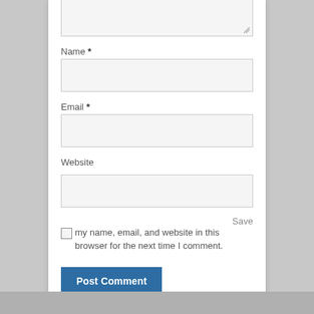[Figure (screenshot): Partial comment form showing a textarea stub at the top, followed by Name, Email, and Website input fields, a save checkbox with label text, and a Post Comment button.]
Name *
Email *
Website
Save my name, email, and website in this browser for the next time I comment.
Post Comment